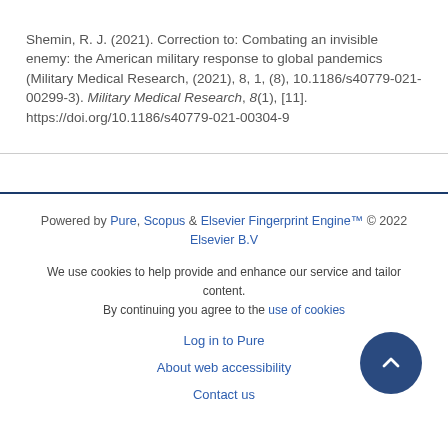Shemin, R. J. (2021). Correction to: Combating an invisible enemy: the American military response to global pandemics (Military Medical Research, (2021), 8, 1, (8), 10.1186/s40779-021-00299-3). Military Medical Research, 8(1), [11]. https://doi.org/10.1186/s40779-021-00304-9
Powered by Pure, Scopus & Elsevier Fingerprint Engine™ © 2022 Elsevier B.V
We use cookies to help provide and enhance our service and tailor content. By continuing you agree to the use of cookies
Log in to Pure
About web accessibility
Contact us